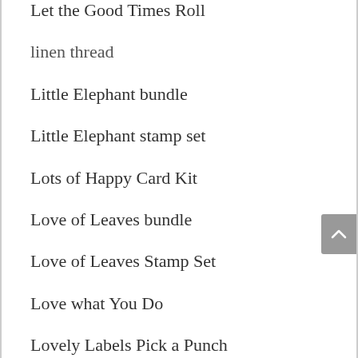Let the Good Times Roll
linen thread
Little Elephant bundle
Little Elephant stamp set
Lots of Happy Card Kit
Love of Leaves bundle
Love of Leaves Stamp Set
Love what You Do
Lovely Labels Pick a Punch
Lovely Lily Pad